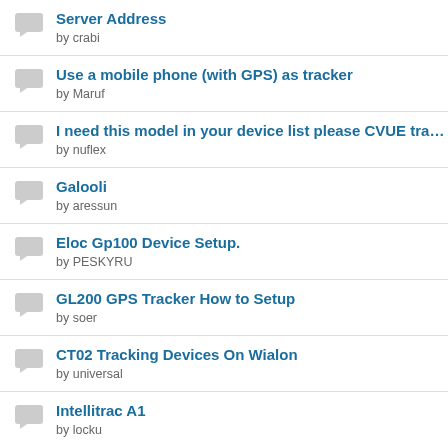Server Address by crabi
Use a mobile phone (with GPS) as tracker by Maruf
I need this model in your device list please CVUE tracker by nuflex
Galooli by aressun
Eloc Gp100 Device Setup. by PESKYRU
GL200 GPS Tracker How to Setup by soer
CT02 Tracking Devices On Wialon by universal
Intellitrac A1 by locku